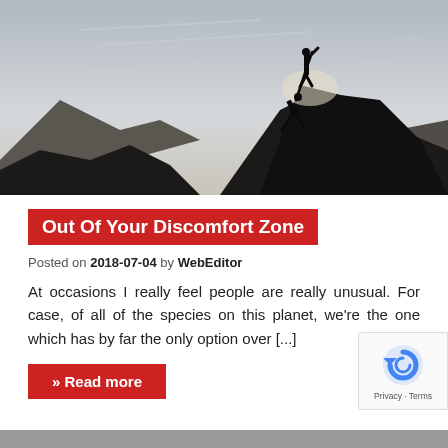[Figure (photo): Black and white silhouette of two climbers on a mountain peak, one reaching down to help the other climb up, dramatic sky background]
Out Of Your Discomfort Zone
Posted on 2018-07-04 by WebEditor
At occasions I really feel people are really unusual. For case, of all of the species on this planet, we're the one which has by far the only option over [...]
» Read more